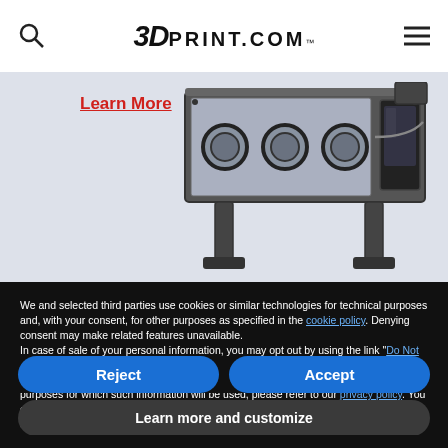3DPrint.com
[Figure (photo): 3D printer machine photo with 'Learn More' link overlay]
We and selected third parties use cookies or similar technologies for technical purposes and, with your consent, for other purposes as specified in the cookie policy. Denying consent may make related features unavailable.
In case of sale of your personal information, you may opt out by using the link "Do Not Sell My Personal Information".
To find out more about the categories of personal information collected and the purposes for which such information will be used, please refer to our privacy policy. You can consent to the use of such technologies by using the "Accept" button, by scrolling this page, by interacting with any link or button outside of this notice or by continuing to browse otherwise.
Reject
Accept
Learn more and customize